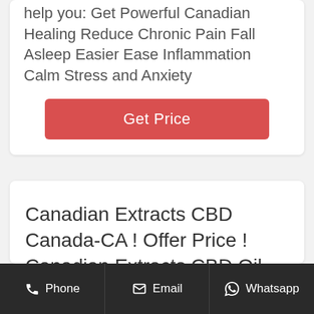help you: Get Powerful Canadian Healing Reduce Chronic Pain Fall Asleep Easier Ease Inflammation Calm Stress and Anxiety
Get Price
Canadian Extracts CBD Canada- CA ! Offer Price ! Canadian Extracts CBD Oil Reviews, Benefits, Use & Where to buy? - Natural Cbd Oil Store For ...
Phone  Email  Whatsapp